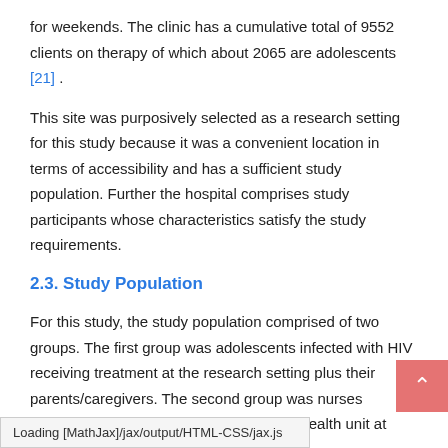for weekends. The clinic has a cumulative total of 9552 clients on therapy of which about 2065 are adolescents [21] .
This site was purposively selected as a research setting for this study because it was a convenient location in terms of accessibility and has a sufficient study population. Further the hospital comprises study participants whose characteristics satisfy the study requirements.
2.3. Study Population
For this study, the study population comprised of two groups. The first group was adolescents infected with HIV receiving treatment at the research setting plus their parents/caregivers. The second group was nurses working in the ART clinic and the mental health unit at Choma General Hospital
Loading [MathJax]/jax/output/HTML-CSS/jax.js